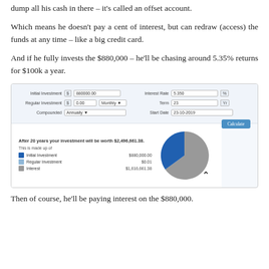dump all his cash in there – it's called an offset account.
Which means he doesn't pay a cent of interest, but can redraw (access) the funds at any time – like a big credit card.
And if he fully invests the $880,000 – he'll be chasing around 5.35% returns for $100k a year.
[Figure (screenshot): Investment calculator screenshot showing: Initial Investment $880,000.00, Regular Investment $0.00 Monthly, Compounded Annually, Interest Rate 5.350%, Term 23 Yr, Start Date 23-10-2019, with Calculate button. Below: After 20 years your investment will be worth $2,496,661.38. Initial Investment $880,000.00, Regular Investment $0.01, Interest $1,616,661.38. Pie chart showing investment breakdown.]
Then of course, he'll be paying interest on the $880,000.